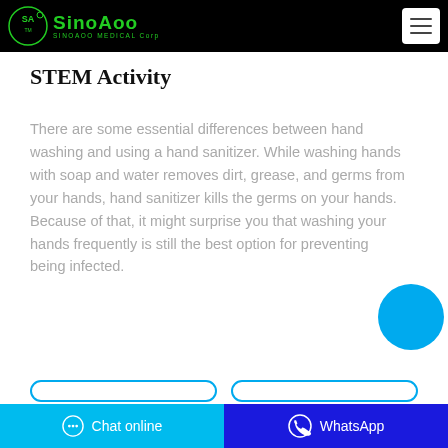SinoAgo Medical Corp
STEM Activity
There are some essential differences between hand washing and using a hand sanitizer. While washing hands with soap and water removes dirt, grease, and germs from your hands, hand sanitizer kills the germs on your hands. Because of that, it might surprise you that washing your hands frequently is still the best option for preventing being infected.
Chat online   WhatsApp